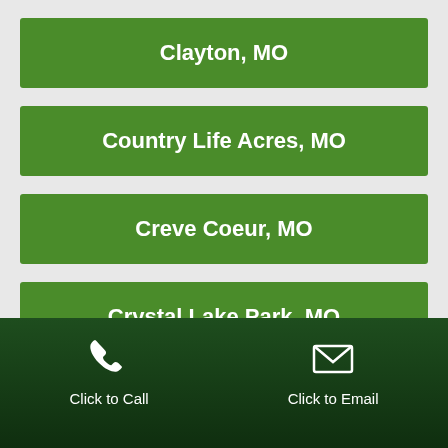Clayton, MO
Country Life Acres, MO
Creve Coeur, MO
Crystal Lake Park, MO
Des Peres, MO
Click to Call | Click to Email